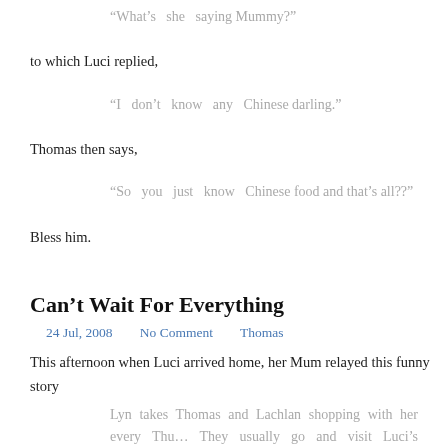“What’s she saying Mummy?”
to which Luci replied,
“I don’t know any Chinese darling.”
Thomas then says,
“So you just know Chinese food and that’s all??”
Bless him.
Can’t Wait For Everything
24 Jul, 2008   No Comment   Thomas
This afternoon when Luci arrived home, her Mum relayed this funny story
Lyn takes Thomas and Lachlan shopping with her every Thu… They usually go and visit Luci’s Grandma (who they call Gr… Max) at a nursing home called John Whittle House. They went to…